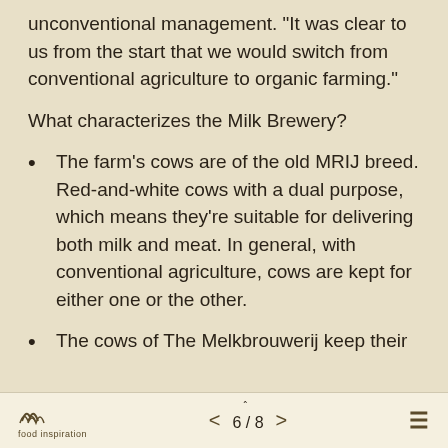unconventional management. "It was clear to us from the start that we would switch from conventional agriculture to organic farming."
What characterizes the Milk Brewery?
The farm's cows are of the old MRIJ breed. Red-and-white cows with a dual purpose, which means they're suitable for delivering both milk and meat. In general, with conventional agriculture, cows are kept for either one or the other.
The cows of The Melkbrouwerij keep their
food inspiration  <  6/8  >  ≡